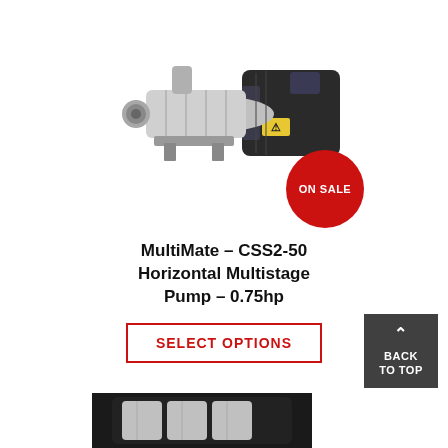[Figure (photo): Horizontal multistage pump (CSS2-50), stainless steel body with black electric motor, with a red ON SALE circular badge overlaid at bottom right]
MultiMate – CSS2-50 Horizontal Multistage Pump – 0.75hp
SELECT OPTIONS
[Figure (photo): Partial view of another pump at the bottom of the page]